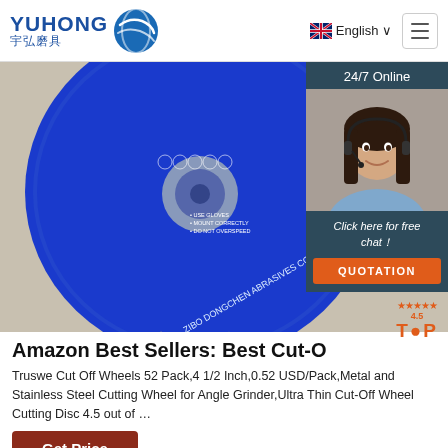[Figure (logo): Yuhong 宇弘磨具 logo with blue wave/sphere icon]
English
[Figure (photo): Blue abrasive cut-off wheel disc on stand, labeled ZIBO DONGCHEN ABRASIVES CO.,LTD]
[Figure (photo): 24/7 Online chat widget with woman wearing headset, Click here for free chat!, QUOTATION button]
Amazon Best Sellers: Best Cut-O
Truswe Cut Off Wheels 52 Pack,4 1/2 Inch,0.52 USD/Pack,Metal and Stainless Steel Cutting Wheel for Angle Grinder,Ultra Thin Cut-Off Wheel Cutting Disc 4.5 out of …
Get Price